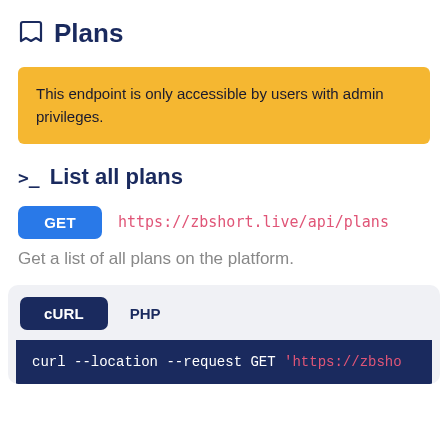Plans
This endpoint is only accessible by users with admin privileges.
List all plans
GET https://zbshort.live/api/plans
Get a list of all plans on the platform.
[Figure (screenshot): Code block with cURL and PHP tabs. cURL tab active. Code shown: curl --location --request GET 'https://zbsho]
cURL tab selected, showing: curl --location --request GET 'https://zbsho